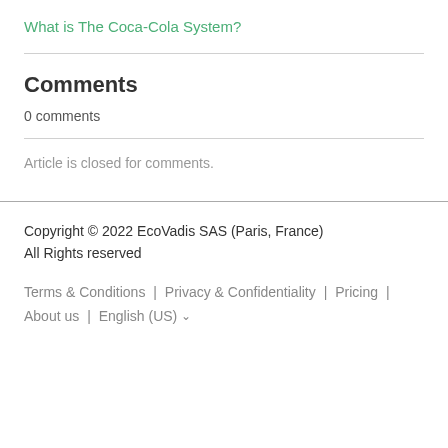What is The Coca-Cola System?
Comments
0 comments
Article is closed for comments.
Copyright © 2022 EcoVadis SAS (Paris, France)
All Rights reserved
Terms & Conditions | Privacy & Confidentiality | Pricing | About us | English (US)